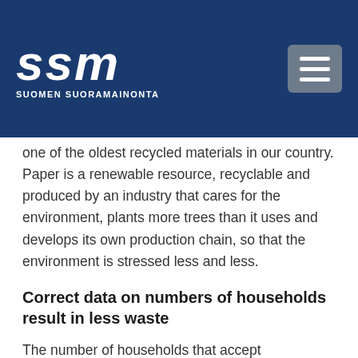SSM SUOMEN SUORAMAINONTA
one of the oldest recycled materials in our country. Paper is a renewable resource, recyclable and produced by an industry that cares for the environment, plants more trees than it uses and develops its own production chain, so that the environment is stressed less and less.
Correct data on numbers of households result in less waste
The number of households that accept unaddressed direct mail varies constantly. New residential areas are built all the time while some people go on vacation and leave a sign for no direct mail - the situation is ever changing. We constantly follow all developments. Significant changes are reported back to our clients, so that they never print too much. In this way there is less waste for our clients, the environment and